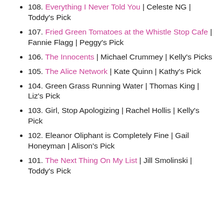108. Everything I Never Told You | Celeste NG | Toddy's Pick
107. Fried Green Tomatoes at the Whistle Stop Cafe | Fannie Flagg | Peggy's Pick
106. The Innocents | Michael Crummey | Kelly's Picks
105. The Alice Network | Kate Quinn | Kathy's Pick
104. Green Grass Running Water | Thomas King | Liz's Pick
103. Girl, Stop Apologizing | Rachel Hollis | Kelly's Pick
102. Eleanor Oliphant is Completely Fine | Gail Honeyman | Alison's Pick
101. The Next Thing On My List | Jill Smolinski | Toddy's Pick